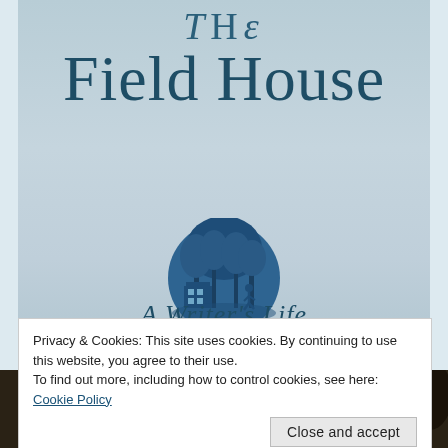The Field House
A Writer's Life
[Figure (illustration): Circular blue illustration showing silhouette of a child running near a building with trees in background]
Privacy & Cookies: This site uses cookies. By continuing to use this website, you agree to their use.
To find out more, including how to control cookies, see here: Cookie Policy
Close and accept